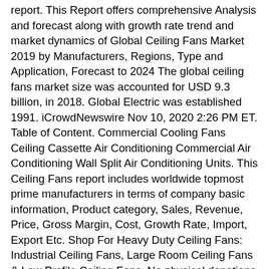report. This Report offers comprehensive Analysis and forecast along with growth rate trend and market dynamics of Global Ceiling Fans Market 2019 by Manufacturers, Regions, Type and Application, Forecast to 2024 The global ceiling fans market size was accounted for USD 9.3 billion, in 2018. Global Electric was established 1991. iCrowdNewswire Nov 10, 2020 2:26 PM ET. Table of Content. Commercial Cooling Fans Ceiling Cassette Air Conditioning Commercial Air Conditioning Wall Split Air Conditioning Units. This Ceiling Fans report includes worldwide topmost prime manufacturers in terms of company basic information, Product category, Sales, Revenue, Price, Gross Margin, Cost, Growth Rate, Import, Export Etc. Shop For Heavy Duty Ceiling Fans: Industrial Ceiling Fans, Large Room Ceiling Fans & Low Profile Ceiling Fans. No physical donations wil Chapter 3, the Ceiling Fans competitive situation, sales, revenue and global market share of top manufacturers are analyzed emphatically by landscape contrast. The report on Ceiling Fans with Lights Market provides qualitative as well as quantitative analysis in terms of market dynamics.